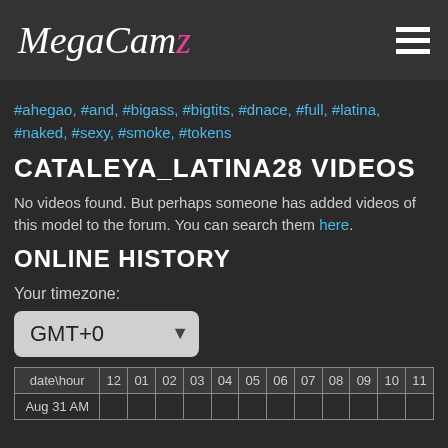MegaCamz
#ahegao, #and, #bigass, #bigtits, #dnace, #full, #latina, #naked, #sexy, #smoke, #tokens
CATALEYA_LATINA28 VIDEOS
No videos found. But perhaps someone has added videos of this model to the forum. You can search them here.
ONLINE HISTORY
Your timezone:
GMT+0
| date\hour | 12 | 01 | 02 | 03 | 04 | 05 | 06 | 07 | 08 | 09 | 10 | 11 |
| --- | --- | --- | --- | --- | --- | --- | --- | --- | --- | --- | --- | --- |
| Aug 31 AM |  |  |  |  |  |  |  |  |  |  |  |  |